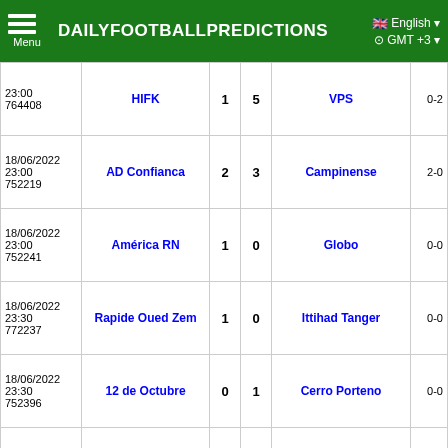DAILYFOOTBALLPREDICTIONS | English | GMT +3
| Date/ID | Home | H | A | Away | Odds |
| --- | --- | --- | --- | --- | --- |
| 23:00
764408 | HIFK | 1 | 5 | VPS | 0-2 |
| 18/06/2022
23:00
752219 | AD Confianca | 2 | 3 | Campinense | 2-0 |
| 18/06/2022
23:00
752241 | América RN | 1 | 0 | Globo | 0-0 |
| 18/06/2022
23:30
772237 | Rapide Oued Zem | 1 | 0 | Ittihad Tanger | 0-0 |
| 18/06/2022
23:30
752396 | 12 de Octubre | 0 | 1 | Cerro Porteno | 0-0 |
| 18/06/2022
23:30
728376 | Cienciano | 1 | 0 | Academia Cantolao | 0-0 |